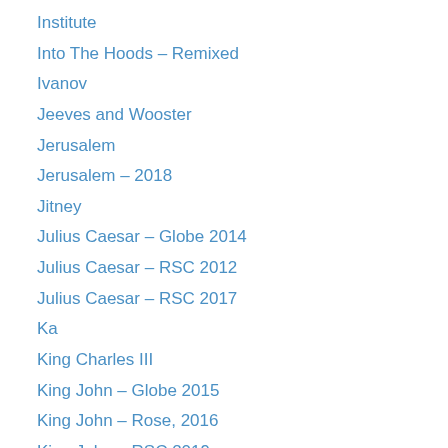Institute
Into The Hoods – Remixed
Ivanov
Jeeves and Wooster
Jerusalem
Jerusalem – 2018
Jitney
Julius Caesar – Globe 2014
Julius Caesar – RSC 2012
Julius Caesar – RSC 2017
Ka
King Charles III
King John – Globe 2015
King John – Rose, 2016
King John – RSC 2019
King Lear Frank Langella
King Lear – Antony Sher, RSC 2016
King Lear – Barrie Rutter
King Lear – David Haig
King Lear – Globe 2017